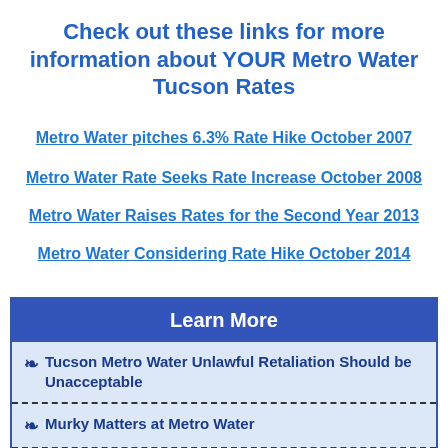Check out these links for more information about YOUR Metro Water Tucson Rates
Metro Water pitches 6.3% Rate Hike October 2007
Metro Water Rate Seeks Rate Increase October 2008
Metro Water Raises Rates for the Second Year 2013
Metro Water Considering Rate Hike October 2014
Learn More
Tucson Metro Water Unlawful Retaliation Should be Unacceptable
Murky Matters at Metro Water
Metro Water District has Sparks Flying
Unlawful Retaliation CONTINUES by the Metropolitan